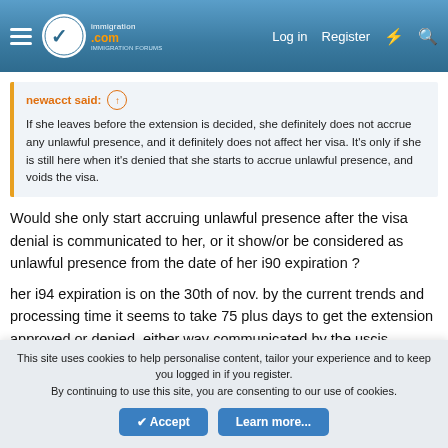immigration.com — Log in  Register
newacct said: ↑
If she leaves before the extension is decided, she definitely does not accrue any unlawful presence, and it definitely does not affect her visa. It's only if she is still here when it's denied that she starts to accrue unlawful presence, and voids the visa.
Would she only start accruing unlawful presence after the visa denial is communicated to her, or it show/or be considered as unlawful presence from the date of her i90 expiration ?
her i94 expiration is on the 30th of nov. by the current trends and processing time it seems to take 75 plus days to get the extension approved or denied, either way communicated by the uscis.
This site uses cookies to help personalise content, tailor your experience and to keep you logged in if you register.
By continuing to use this site, you are consenting to our use of cookies.
Accept   Learn more...